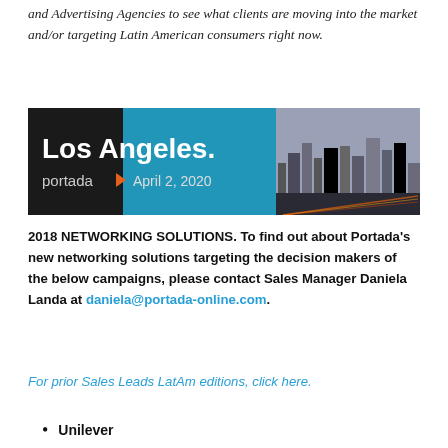and Advertising Agencies to see what clients are moving into the market and/or targeting Latin American consumers right now.
[Figure (illustration): Portada Los Angeles event banner with city skyline photo. Text reads 'Los Angeles.' 'portada' with orange arrow logo, 'April 2, 2020'. Dark background with blue accent on left panel.]
2018 NETWORKING SOLUTIONS. To find out about Portada's new networking solutions targeting the decision makers of the below campaigns, please contact Sales Manager Daniela Landa at daniela@portada-online.com.
For prior Sales Leads LatAm editions, click here.
Unilever